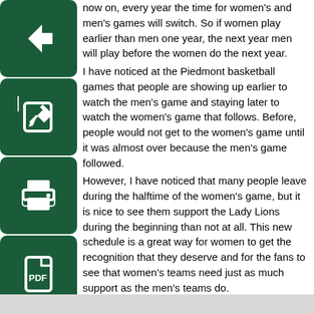now on, every year the time for women's and men's games will switch. So if women play earlier than men one year, the next year men will play before the women do the next year.
I have noticed at the Piedmont basketball games that people are showing up earlier to watch the men's game and staying later to watch the women's game that follows. Before, people would not get to the women's game until it was almost over because the men's game followed.
However, I have noticed that many people leave during the halftime of the women's game, but it is nice to see them support the Lady Lions during the beginning than not at all. This new schedule is a great way for women to get the recognition that they deserve and for the fans to see that women's teams need just as much support as the men's teams do.